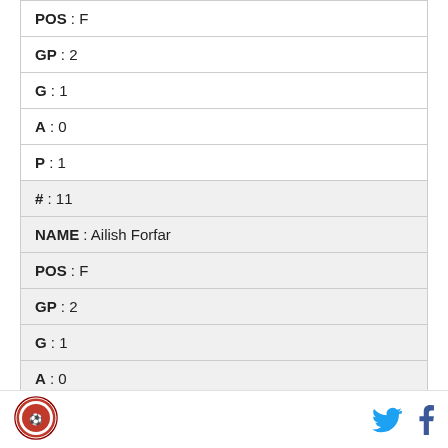| POS : F |
| GP : 2 |
| G : 1 |
| A : 0 |
| P : 1 |
| # : 11 |
| NAME : Ailish Forfar |
| POS : F |
| GP : 2 |
| G : 1 |
| A : 0 |
Logo | Twitter | Facebook